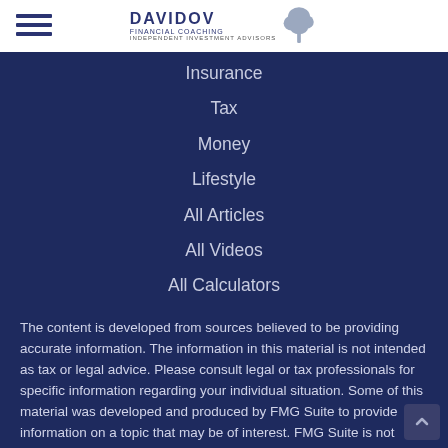[Figure (logo): Davidov Financial Coaching logo with tree graphic and text 'DAVIDOV FINANCIAL COACHING INDEPENDENT INVESTMENT ADVISORS']
Insurance
Tax
Money
Lifestyle
All Articles
All Videos
All Calculators
All Presentations
The content is developed from sources believed to be providing accurate information. The information in this material is not intended as tax or legal advice. Please consult legal or tax professionals for specific information regarding your individual situation. Some of this material was developed and produced by FMG Suite to provide information on a topic that may be of interest. FMG Suite is not affiliated with the named representative, broker -